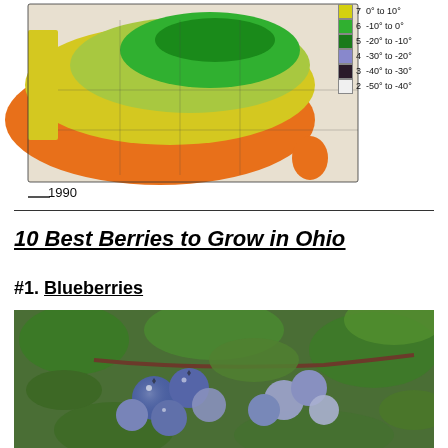[Figure (map): USDA Plant Hardiness Zone Map of the United States showing temperature zones with legend: zone 7 (0° to 10°), zone 6 (-10° to 0°), zone 5 (-20° to -10°), zone 4 (-30° to -20°), zone 3 (-40° to -30°), zone 2 (-50° to -40°). Year label: 1990]
10 Best Berries to Grow in Ohio
#1. Blueberries
[Figure (photo): Close-up photograph of blueberries on a branch with green leaves and water droplets]